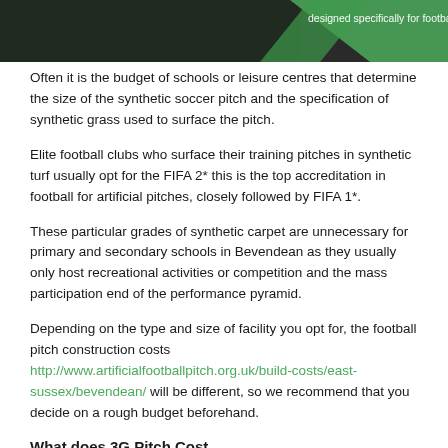[Figure (photo): Header image showing a dark background with green triangular design elements on the right side, with text 'designed specifically for football and rugby.']
Often it is the budget of schools or leisure centres that determine the size of the synthetic soccer pitch and the specification of synthetic grass used to surface the pitch.
Elite football clubs who surface their training pitches in synthetic turf usually opt for the FIFA 2* this is the top accreditation in football for artificial pitches, closely followed by FIFA 1*.
These particular grades of synthetic carpet are unnecessary for primary and secondary schools in Bevendean as they usually only host recreational activities or competition and the mass participation end of the performance pyramid.
Depending on the type and size of facility you opt for, the football pitch construction costs http://www.artificialfootballpitch.org.uk/build-costs/east-sussex/bevendean/ will be different, so we recommend that you decide on a rough budget beforehand.
What does 3G Pitch Cost